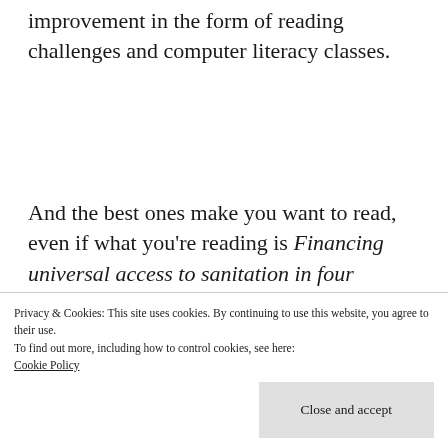improvement in the form of reading challenges and computer literacy classes.
And the best ones make you want to read, even if what you're reading is Financing universal access to sanitation in four African cities. Partly it's the commonality of studying together, though
Privacy & Cookies: This site uses cookies. By continuing to use this website, you agree to their use.
To find out more, including how to control cookies, see here:
Cookie Policy
Close and accept